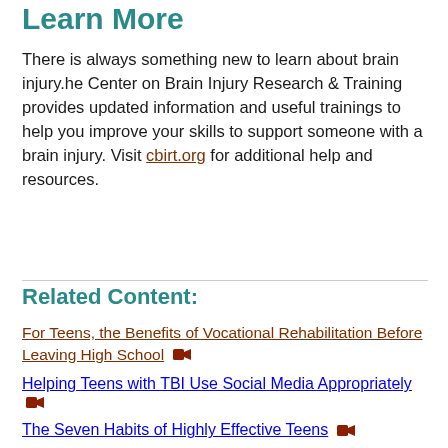Learn More
There is always something new to learn about brain injury.he Center on Brain Injury Research & Training provides updated information and useful trainings to help you improve your skills to support someone with a brain injury. Visit cbirt.org for additional help and resources.
Related Content:
For Teens, the Benefits of Vocational Rehabilitation Before Leaving High School [video]
Helping Teens with TBI Use Social Media Appropriately [video]
The Seven Habits of Highly Effective Teens [video]
Resources to Help Schools Support Teens with TBI S...